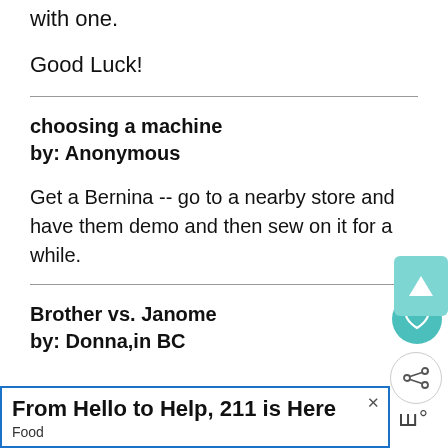with one.
Good Luck!
choosing a machine
by: Anonymous
Get a Bernina -- go to a nearby store and have them demo and then sew on it for a while.
Brother vs. Janome
by: Donna,in BC
From Hello to Help, 211 is Here
Food